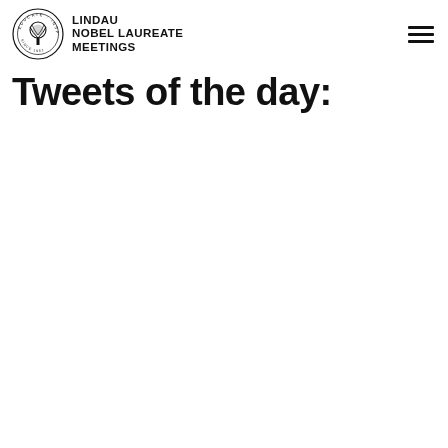Lindau Nobel Laureate Meetings
Tweets of the day: